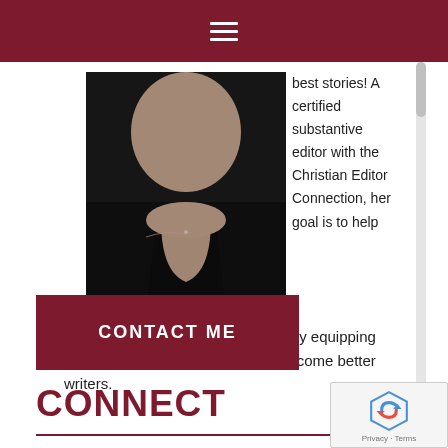Navigation menu (hamburger icon)
[Figure (photo): Portrait photo of a woman wearing a black v-neck top with a delicate necklace, against a dark background]
best stories! A certified substantive editor with the Christian Editor Connection, her goal is to help authors to put her out of business by equipping them with the tools they need to become better writers.
CONTACT ME
CONNECT